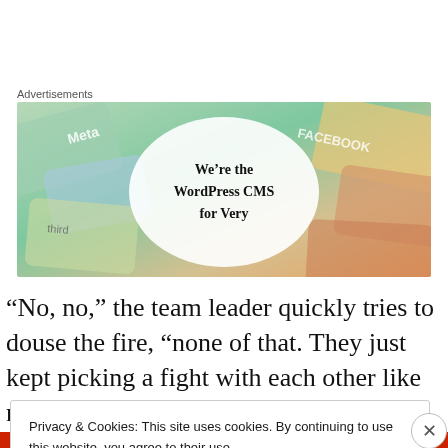Advertisements
[Figure (illustration): Advertisement banner showing colorful overlapping cards/tiles with brand names including Meta and Facebook. A white oval/circle overlay in the center displays the text: We're the WordPress CMS for Very]
“No, no,” the team leader quickly tries to douse the fire, “none of that. They just kept picking a fight with each other like normal.”
Privacy & Cookies: This site uses cookies. By continuing to use this website, you agree to their use.
To find out more, including how to control cookies, see here: Cookie Policy
Close and accept